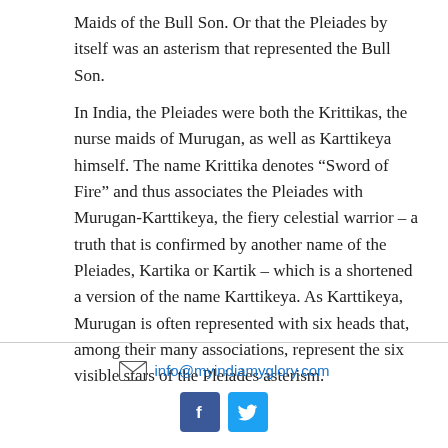Maids of the Bull Son. Or that the Pleiades by itself was an asterism that represented the Bull Son.
In India, the Pleiades were both the Krittikas, the nurse maids of Murugan, as well as Karttikeya himself. The name Krittika denotes “Sword of Fire” and thus associates the Pleiades with Murugan-Karttikeya, the fiery celestial warrior – a truth that is confirmed by another name of the Pleiades, Kartika or Kartik – which is a shortened a version of the name Karttikeya. As Karttikeya, Murugan is often represented with six heads that, among their many associations, represent the six visible stars of the Pleiades asterism.
info@myindiamyglory.com